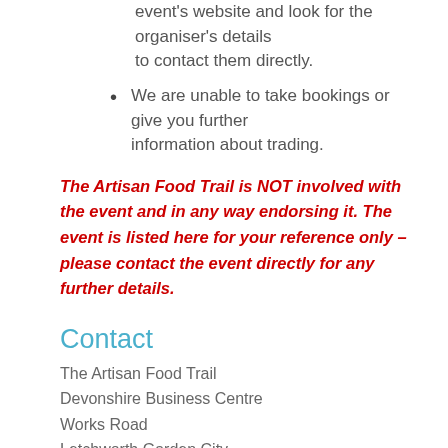event's website and look for the organiser's details to contact them directly.
We are unable to take bookings or give you further information about trading.
The Artisan Food Trail is NOT involved with the event and in any way endorsing it. The event is listed here for your reference only – please contact the event directly for any further details.
Contact
The Artisan Food Trail
Devonshire Business Centre
Works Road
Letchworth Garden City
Hertfordshire, SG6 1GJ
0844 995 9996
Call us or email / Tel...